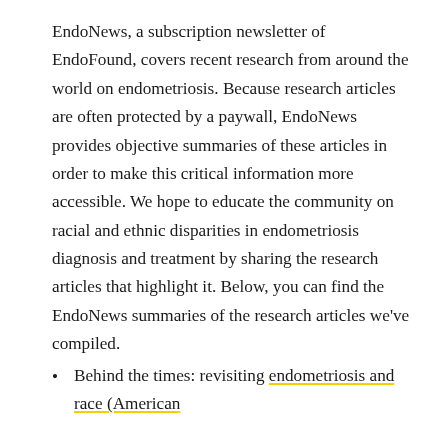EndoNews, a subscription newsletter of EndoFound, covers recent research from around the world on endometriosis. Because research articles are often protected by a paywall, EndoNews provides objective summaries of these articles in order to make this critical information more accessible. We hope to educate the community on racial and ethnic disparities in endometriosis diagnosis and treatment by sharing the research articles that highlight it. Below, you can find the EndoNews summaries of the research articles we've compiled.
Behind the times: revisiting endometriosis and race (American Journal of Obstetrics & Gynecology)